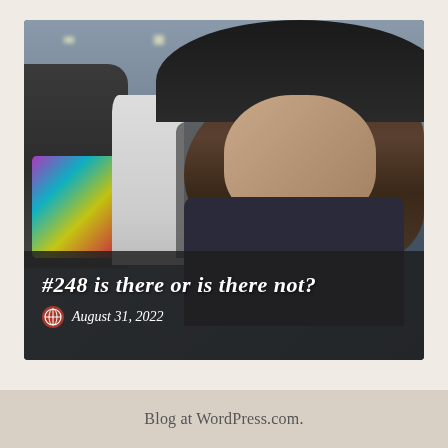[Figure (photo): Photo of a young woman with curly brown hair wearing a black wide-brim hat and dark t-shirt at what appears to be a convention center. In the background are other convention attendees including a person in a colorful graphic tee. Text overlay at bottom reads '#248 is there or is there not?' with date 'August 31, 2022' and a site icon.]
Blog at WordPress.com.